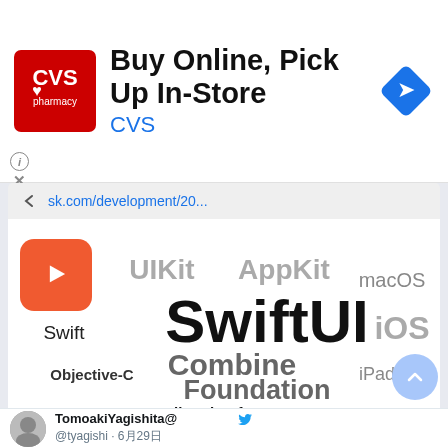[Figure (screenshot): CVS Pharmacy ad banner: logo, 'Buy Online, Pick Up In-Store', 'CVS', blue diamond navigation icon, info and close buttons]
sk.com/development/20...
[Figure (infographic): Swift/SwiftUI technology word cloud showing: UIKit, AppKit, macOS, Swift (with Swift bird logo), SwiftUI (large bold), iOS, Combine, Foundation, Objective-C, iPadOS, SmallDeskSoftware logo]
software.small-desk.com
[SwiftUI] VStack 　　　 | SmallDeskSoftware
[Figure (infographic): Tweet action icons: comment bubble and heart with count 1]
TomoakiYagishita@
@tyagishi · 6月29日